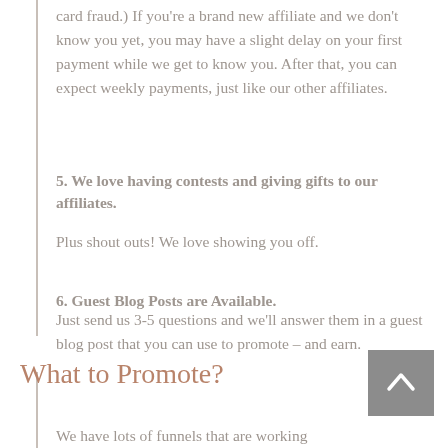card fraud.) If you're a brand new affiliate and we don't know you yet, you may have a slight delay on your first payment while we get to know you. After that, you can expect weekly payments, just like our other affiliates.
5. We love having contests and giving gifts to our affiliates.
Plus shout outs! We love showing you off.
6. Guest Blog Posts are Available.
Just send us 3-5 questions and we'll answer them in a guest blog post that you can use to promote – and earn.
What to Promote?
We have lots of funnels that are working